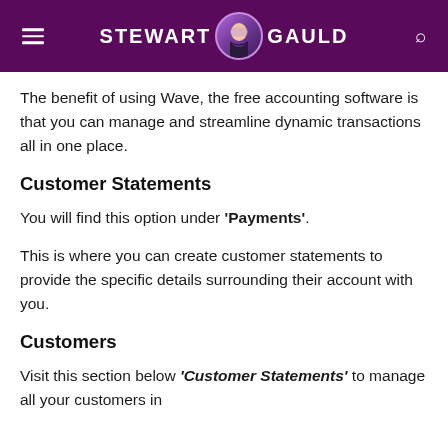STEWART GAULD
The benefit of using Wave, the free accounting software is that you can manage and streamline dynamic transactions all in one place.
Customer Statements
You will find this option under 'Payments'.
This is where you can create customer statements to provide the specific details surrounding their account with you.
Customers
Visit this section below 'Customer Statements' to manage all your customers in